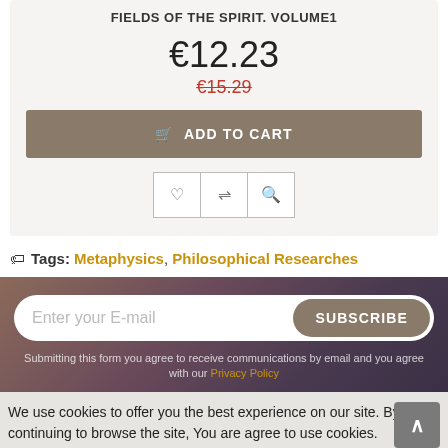FIELDS OF THE SPIRIT. VOLUME1
€12.23
€15.29
ADD TO CART
Tags: Metaphysics, Philosophical Researches
Enter your E-mail
SUBSCRIBE
Submitting this form you agree to receive communications by email and you agree with our Privacy Policy
We use cookies to offer you the best experience on our site. By continuing to browse the site, You are agree to use cookies. To obtain more informations please Click here
News
ALL NEW